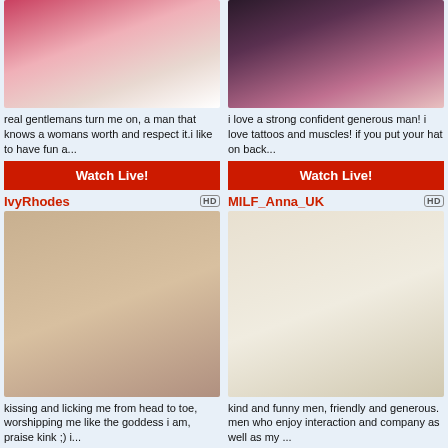[Figure (photo): Woman with red hair lying on bed in red lingerie]
real gentlemans turn me on, a man that knows a womans worth and respect it.i like to have fun a...
Watch Live!
[Figure (photo): Older woman with dark hair wearing floral top and black straps]
i love a strong confident generous man! i love tattoos and muscles! if you put your hat on back...
Watch Live!
IvyRhodes
[Figure (photo): Young woman with braided hair in white top]
kissing and licking me from head to toe, worshipping me like the goddess i am, praise kink ;) i...
Watch Live!
MILF_Anna_UK
[Figure (photo): Woman from behind wearing white underwear and black stockings]
kind and funny men, friendly and generous. men who enjoy interaction and company as well as my ...
Watch Live!